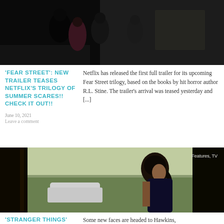[Figure (photo): Dark scene with multiple people, appears to be from a TV show or movie, dimly lit indoor setting]
'FEAR STREET': NEW TRAILER TEASES NETFLIX'S TRILOGY OF SUMMER SCARES!! CHECK IT OUT!!
Netflix has released the first full trailer for its upcoming Fear Street trilogy, based on the books by hit horror author R.L. Stine. The trailer's arrival was teased yesterday and [...]
June 10, 2021
Leave a comment
[Figure (photo): Young woman with dark hair in a ponytail, looking to the side, warm outdoor background, with 'Features, TV' label in upper right corner]
'STRANGER THINGS'
Some new faces are headed to Hawkins,